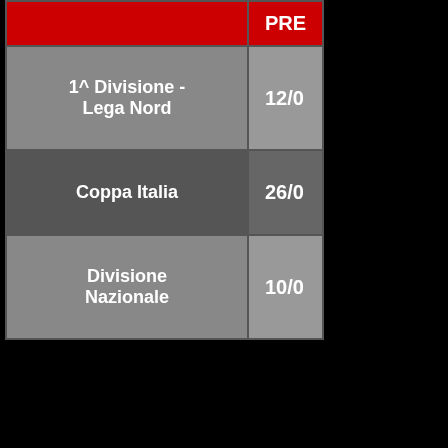|  | PRE |
| --- | --- |
| 1^ Divisione - Lega Nord | 12/0 |
| Coppa Italia | 26/0 |
| Divisione Nazionale | 10/0 |
Torna ir
[Figure (logo): Magliarosa logo with red squares and white text]